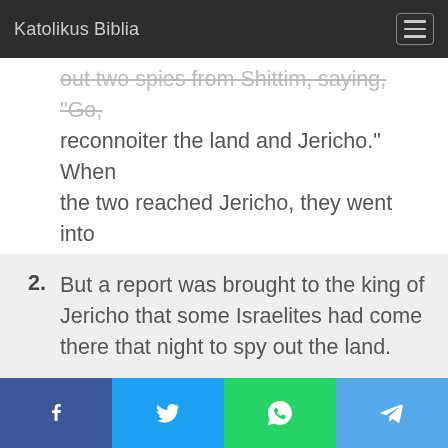Katolikus Biblia
out two spies from Shittim, saying, "Go, reconnoiter the land and Jericho." When the two reached Jericho, they went into the house of a harlot named Rahab, where they lodged.
2. But a report was brought to the king of Jericho that some Israelites had come there that night to spy out the land.
3. So the king of Jericho sent Rahab the
Share buttons: Facebook, Twitter, WhatsApp, Telegram